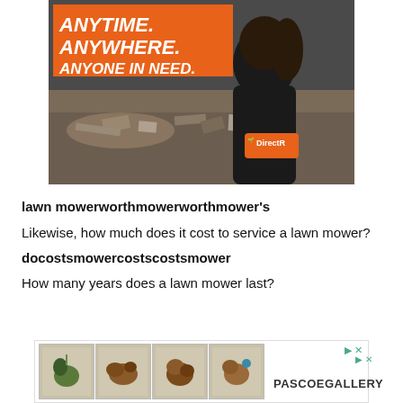[Figure (photo): Advertisement banner showing a person in a black jacket with Direct Relief logo standing in front of rubble/disaster scene. Orange text overlay reads ANYTIME. ANYWHERE. ANYONE IN NEED.]
lawn mowerworthmowerworthmower's
Likewise, how much does it cost to service a lawn mower?
docostsmowercostscostsmower
How many years does a lawn mower last?
[Figure (photo): Bottom advertisement banner showing four thumbnail images of decorative animal figurines with PASCOEGALLERY branding]